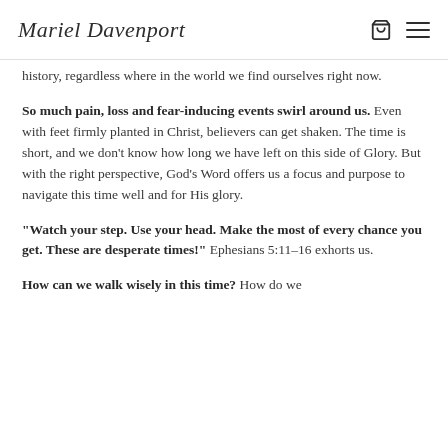Mariel Davenport
history, regardless where in the world we find ourselves right now.
So much pain, loss and fear-inducing events swirl around us. Even with feet firmly planted in Christ, believers can get shaken. The time is short, and we don't know how long we have left on this side of Glory. But with the right perspective, God's Word offers us a focus and purpose to navigate this time well and for His glory.
“Watch your step. Use your head. Make the most of every chance you get. These are desperate times!” Ephesians 5:11–16 exhorts us.
How can we walk wisely in this time? How do we